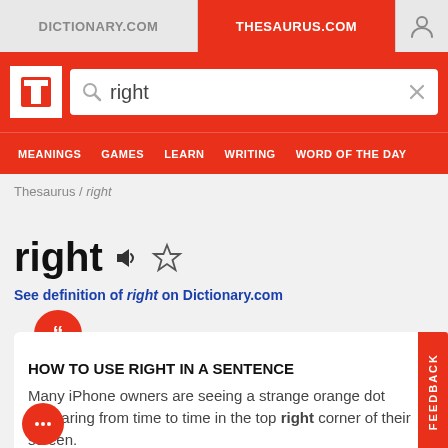DICTIONARY.COM | THESAURUS.COM
[Figure (screenshot): Thesaurus.com website header with logo, search bar containing 'right', and navigation menu with MEANINGS, GAMES, LEARN, WRITING, WORD OF THE DAY]
Thesaurus / right
right
See definition of right on Dictionary.com
HOW TO USE RIGHT IN A SENTENCE
Many iPhone owners are seeing a strange orange dot appearing from time to time in the top right corner of their screen.
IPHONE'S NEW 'ORANGE DOT' FEATURE WARNS YOU WHEN AN